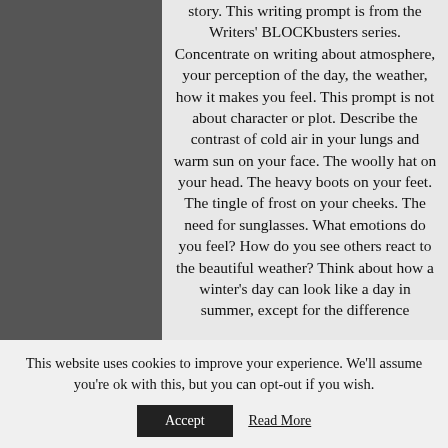story. This writing prompt is from the Writers' BLOCKbusters series. Concentrate on writing about atmosphere, your perception of the day, the weather, how it makes you feel. This prompt is not about character or plot. Describe the contrast of cold air in your lungs and warm sun on your face. The woolly hat on your head. The heavy boots on your feet. The tingle of frost on your cheeks. The need for sunglasses. What emotions do you feel? How do you see others react to the beautiful weather? Think about how a winter's day can look like a day in summer, except for the difference
This website uses cookies to improve your experience. We'll assume you're ok with this, but you can opt-out if you wish.